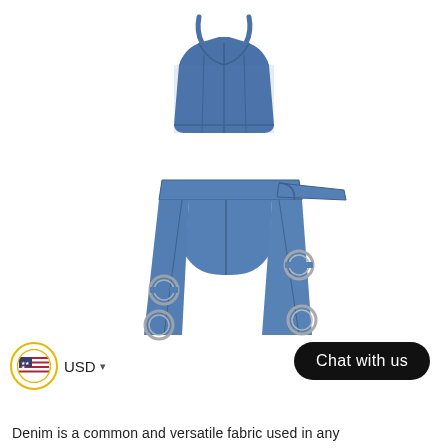[Figure (photo): Product photo of a children's denim two-piece set consisting of a blue denim spaghetti-strap crop top and blue denim capri pants/jeans with metal ring buckle details on the legs and a belt, displayed flat on a white background.]
[Figure (other): Chat with us button — black rounded pill-shaped button with white text reading 'Chat with us']
[Figure (other): Currency selector showing a circular icon with US flag and text 'USD' with a dropdown arrow]
Denim is a common and versatile fabric used in any